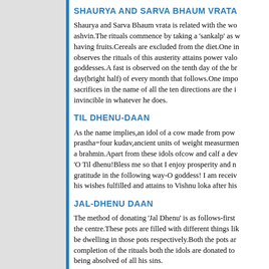SHAURYA AND SARVA BHAUM VRATA
Shaurya and Sarva Bhaum vrata is related with the wo ashvin.The rituals commence by taking a 'sankalp' as w having fruits.Cereals are excluded from the diet.One in observes the rituals of this austerity attains power valo goddesses.A fast is observed on the tenth day of the br day(bright half) of every month that follows.One impo sacrifices in the name of all the ten directions are the i invincible in whatever he does.
TIL DHENU-DAAN
As the name implies,an idol of a cow made from pow prastha=four kudav,ancient units of weight measurmen a brahmin.Apart from these idols ofcow and calf a dev 'O Til dhenu!Bless me so that I enjoy prosperity and n gratitude in the following way-O goddess! I am receiv his wishes fulfilled and attains to Vishnu loka after his
JAL-DHENU DAAN
The method of donating 'Jal Dhenu' is as follows-first the centre.These pots are filled with different things li be dwelling in those pots respectively.Both the pots ar completion of the rituals both the idols are donated to being absolved of all his sins.